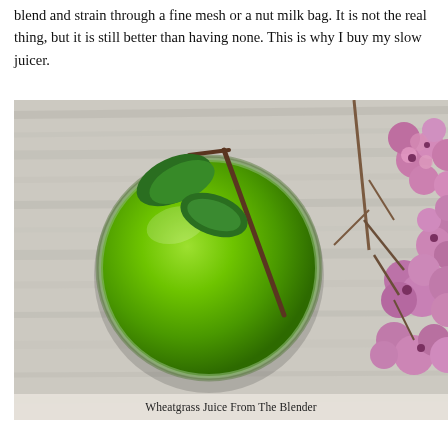blend and strain through a fine mesh or a nut milk bag. It is not the real thing, but it is still better than having none. This is why I buy my slow juicer.
[Figure (photo): Top-down view of a glass of bright green wheatgrass juice with herb leaves and pink flowers on a weathered white wood surface]
Wheatgrass Juice From The Blender